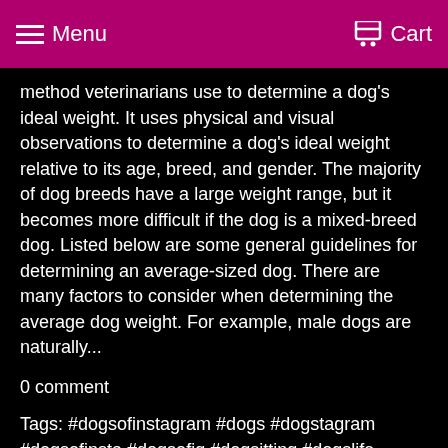Menu  Cart
method veterinarians use to determine a dog's ideal weight. It uses physical and visual observations to determine a dog's ideal weight relative to its age, breed, and gender. The majority of dog breeds have a large weight range, but it becomes more difficult if the dog is a mixed-breed dog. Listed below are some general guidelines for determining an average-sized dog. There are many factors to consider when determining the average dog weight. For example, male dogs are naturally...
0 comment
Tags: #dogsofinstagram #dogs #dogstagram #dogsofinsta #dogsofig #dogsitting #dogslife #dogsofinstaworld #dogscorner #dogsofinstgram #dogsandpals #dogslover #dogstyle #dogsarefamily #dogselfie #dogsofnyc